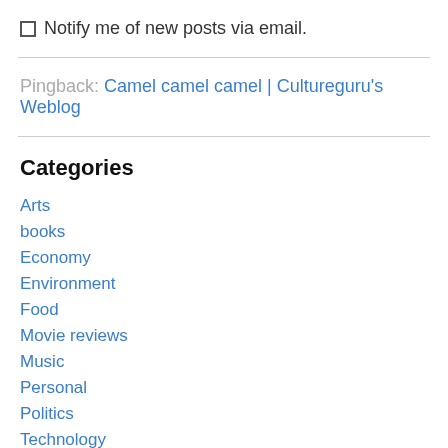Notify me of new posts via email.
Pingback: Camel camel camel | Cultureguru's Weblog
Categories
Arts
books
Economy
Environment
Food
Movie reviews
Music
Personal
Politics
Technology